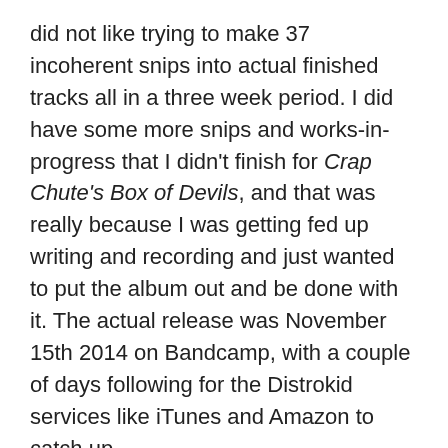did not like trying to make 37 incoherent snips into actual finished tracks all in a three week period. I did have some more snips and works-in-progress that I didn't finish for Crap Chute's Box of Devils, and that was really because I was getting fed up writing and recording and just wanted to put the album out and be done with it. The actual release was November 15th 2014 on Bandcamp, with a couple of days following for the Distrokid services like iTunes and Amazon to catch up.
I had some good luck getting both Crap Chute's Pinched Loaf (some months after release) and Crap Chute's Box of Devils (shortly after release) featured on the Night Attack show